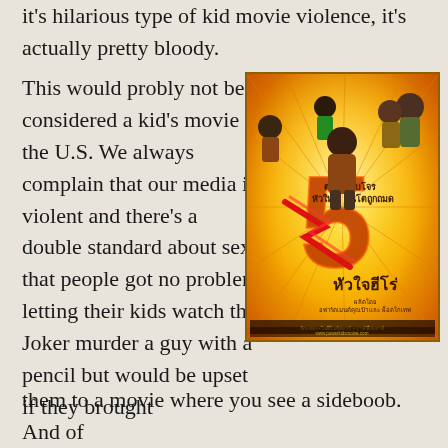it's hilarious type of kid movie violence, it's actually pretty bloody.
This would probly not be considered a kid's movie in the U.S. We always complain that our media is violent and there's a double standard about sex, that people got no problem letting their kids watch the Joker murder a guy with a pencil but would be upset if they brought them to a movie where you see a sideboob. And of
[Figure (photo): Movie poster for a Thai action film featuring children in martial arts poses against an orange/golden background with the number 5 prominently displayed and Thai script text]